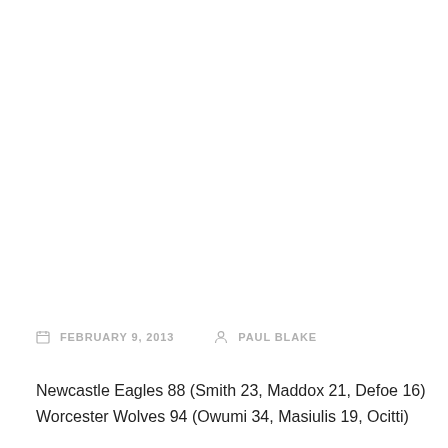FEBRUARY 9, 2013   PAUL BLAKE
Newcastle Eagles 88 (Smith 23, Maddox 21, Defoe 16)
Worcester Wolves 94 (Owumi 34, Masiulis 19, Ocitti)